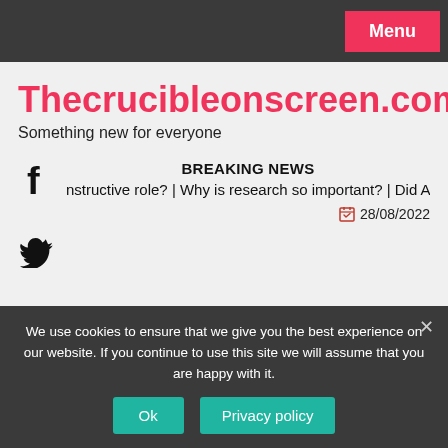Menu
Thecrucibleonscreen.com
Something new for everyone
BREAKING NEWS
nstructive role?  |  Why is research so important?  |  Did Ach
28/08/2022
We use cookies to ensure that we give you the best experience on our website. If you continue to use this site we will assume that you are happy with it.
Ok
Privacy policy